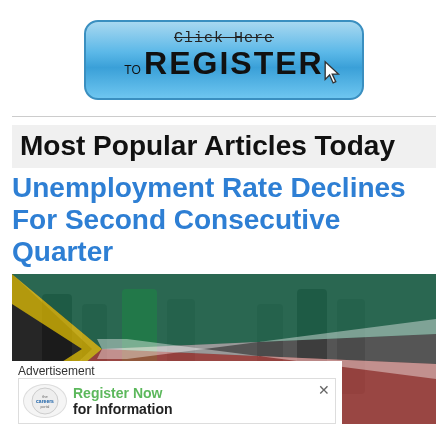[Figure (illustration): Blue rounded rectangle button with 'Click Here to REGISTER' text and a cursor/hand pointer icon]
Most Popular Articles Today
Unemployment Rate Declines For Second Consecutive Quarter
[Figure (photo): Composite image of people walking overlaid with South African flag colors (green, red, black, yellow, white diagonal stripes)]
Advertisement
[Figure (infographic): Advertisement banner for CareersPortal with green text 'Register Now for Information' and a close button X]